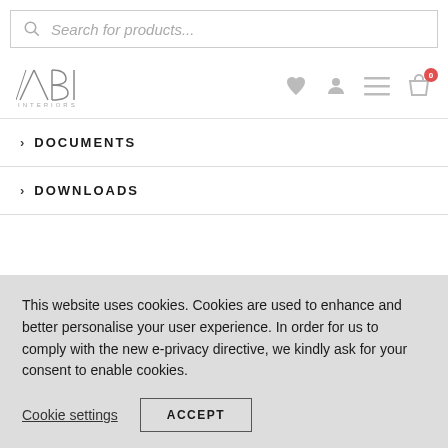Search for products...
[Figure (logo): ABI Interiors logo with navigation icons (heart, user, menu, shopping bag with badge 0)]
DOCUMENTS
DOWNLOADS
This website uses cookies. Cookies are used to enhance and better personalise your user experience. In order for us to comply with the new e-privacy directive, we kindly ask for your consent to enable cookies.
Cookie settings
ACCEPT